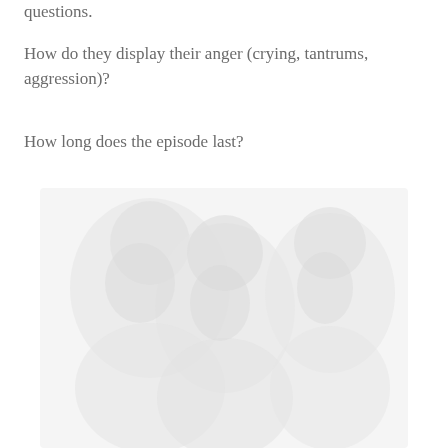questions.
How do they display their anger (crying, tantrums, aggression)?
How long does the episode last?
[Figure (photo): A faded/watermarked background image showing children or figures, very light and washed out, used as a decorative background illustration.]